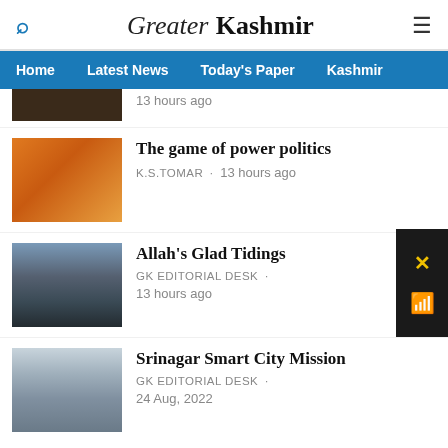Greater Kashmir
Home · Latest News · Today's Paper · Kashmir
13 hours ago
The game of power politics · K.S.TOMAR · 13 hours ago
Allah's Glad Tidings · GK EDITORIAL DESK · 13 hours ago
Srinagar Smart City Mission · GK EDITORIAL DESK · 24 Aug, 2022